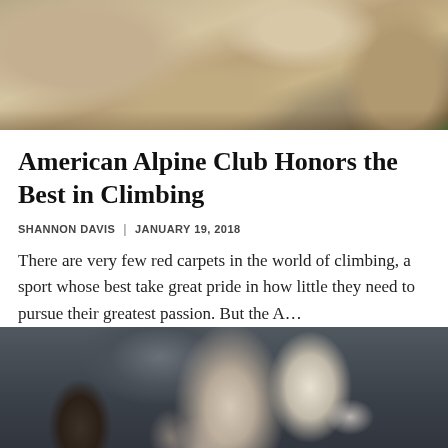[Figure (photo): Top portion of a rock face / cliff with sandy tan and brown rocky texture, viewed from above or at an angle. Some green moss or vegetation visible at top left corner.]
American Alpine Club Honors the Best in Climbing
SHANNON DAVIS  |  JANUARY 19, 2018
There are very few red carpets in the world of climbing, a sport whose best take great pride in how little they need to pursue their greatest passion. But the A…
[Figure (photo): A rock climber (woman with dark hair) pressing against a dark grey rock face, reaching upward with both hands gripping the rock. She appears to be wearing a red/pink top and is looking upward with an intense expression.]